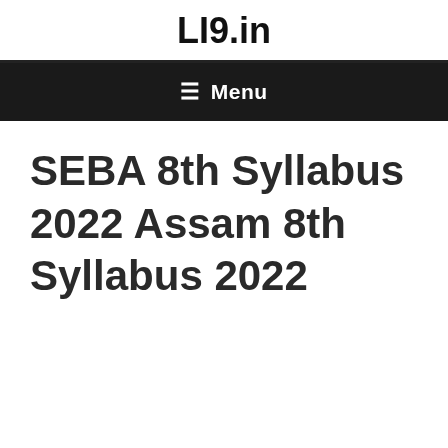LI9.in
≡ Menu
SEBA 8th Syllabus 2022 Assam 8th Syllabus 2022